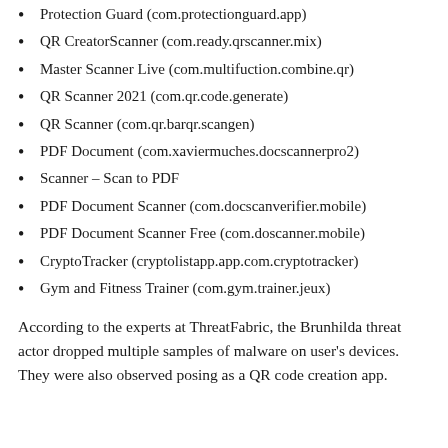Protection Guard (com.protectionguard.app)
QR CreatorScanner (com.ready.qrscanner.mix)
Master Scanner Live (com.multifuction.combine.qr)
QR Scanner 2021 (com.qr.code.generate)
QR Scanner (com.qr.barqr.scangen)
PDF Document (com.xaviermuches.docscannerpro2)
Scanner – Scan to PDF
PDF Document Scanner (com.docscanverifier.mobile)
PDF Document Scanner Free (com.doscanner.mobile)
CryptoTracker (cryptolistapp.app.com.cryptotracker)
Gym and Fitness Trainer (com.gym.trainer.jeux)
According to the experts at ThreatFabric, the Brunhilda threat actor dropped multiple samples of malware on user's devices. They were also observed posing as a QR code creation app.